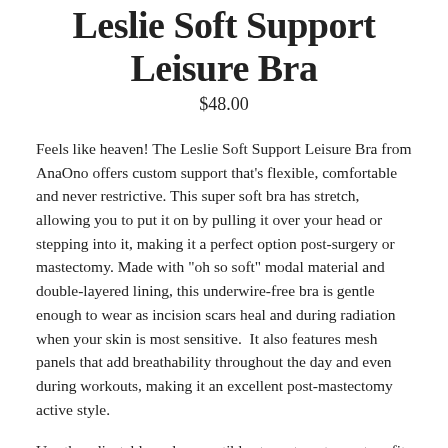Leslie Soft Support Leisure Bra
$48.00
Feels like heaven! The Leslie Soft Support Leisure Bra from AnaOno offers custom support that's flexible, comfortable and never restrictive. This super soft bra has stretch, allowing you to put it on by pulling it over your head or stepping into it, making it a perfect option post-surgery or mastectomy. Made with "oh so soft" modal material and double-layered lining, this underwire-free bra is gentle enough to wear as incision scars heal and during radiation when your skin is most sensitive.  It also features mesh panels that add breathability throughout the day and even during workouts, making it an excellent post-mastectomy active style.
Use the adjustable and convertible straps to get a custom fit post-surgery. Can be worn after a mastectomy, reconstruction, lumpectomy, radiation and other breast surgeries. It's a